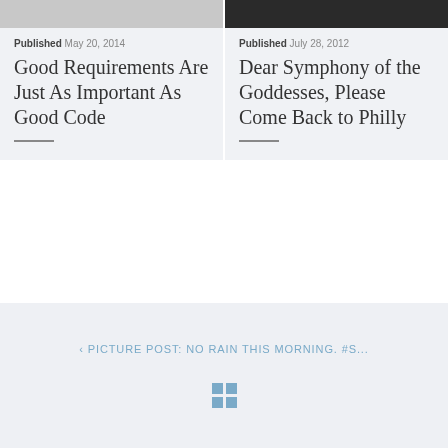[Figure (photo): Top partial image strip for left card, light gray]
Published May 20, 2014
Good Requirements Are Just As Important As Good Code
[Figure (photo): Top partial image strip for right card, dark concert/performance photo]
Published July 28, 2012
Dear Symphony of the Goddesses, Please Come Back to Philly
< PICTURE POST: NO RAIN THIS MORNING. #S...